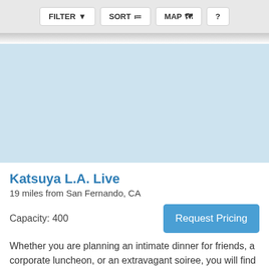FILTER  SORT  MAP  ?
[Figure (map): Light blue map area placeholder]
Katsuya L.A. Live
19 miles from San Fernando, CA
Capacity: 400
Whether you are planning an intimate dinner for friends, a corporate luncheon, or an extravagant soiree, you will find the